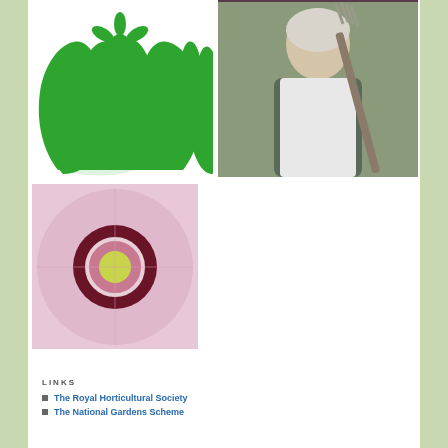[Figure (logo): Green gardening/horticulture logo with two hands cupping a flower, in green]
[Figure (photo): Older woman with short white hair holding a garden fork, wearing a vest and gloves, smiling]
[Figure (photo): Close-up macro photo of a pink poppy flower with deep red/maroon center and yellow-green stamen]
LINKS
The Royal Horticultural Society
The National Gardens Scheme